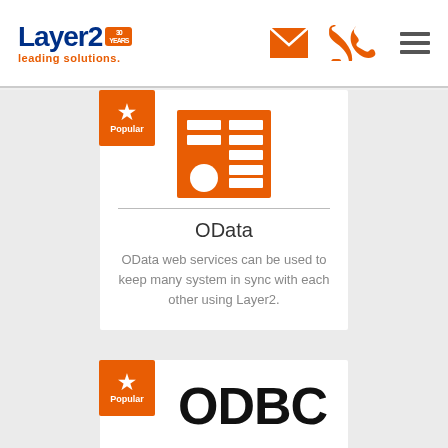[Figure (logo): Layer2 logo with '30 years' badge and 'leading solutions.' tagline in orange]
[Figure (illustration): Orange envelope icon (email), orange phone icon, and orange hamburger menu icon in header]
[Figure (illustration): Orange 'Popular' badge with star icon on card]
[Figure (illustration): Orange data/table icon representing OData]
OData
OData web services can be used to keep many system in sync with each other using Layer2.
[Figure (illustration): Orange 'Popular' badge with star icon on second card]
ODBC